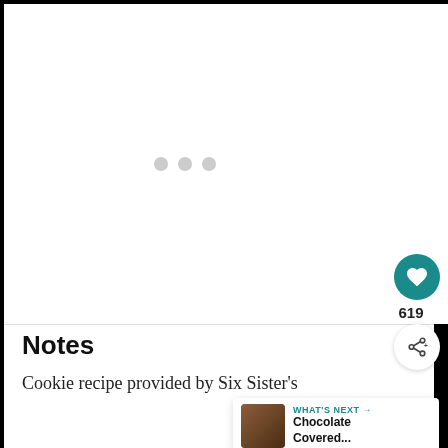[Figure (screenshot): Loading placeholder with three light gray dots in a row on white background]
Notes
Cookie recipe provided by Six Sister's
[Figure (screenshot): UI widget: teal circular heart/like button with count 619 below, and a white circular share button with share icon]
[Figure (screenshot): What's Next overlay panel showing chocolate covered item thumbnail with text 'WHAT'S NEXT → Chocolate Covered...']
[Figure (screenshot): Advertisement banner: cookies for kids cancer - turn your COOKIES into a CURE - LEARN HOW]